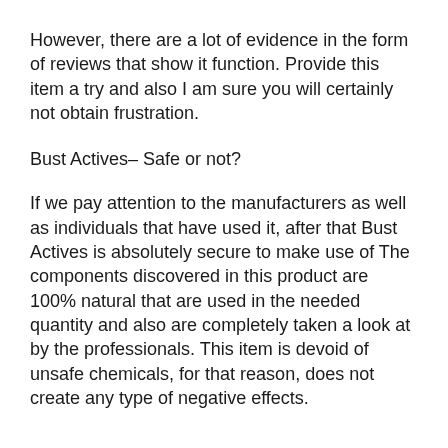However, there are a lot of evidence in the form of reviews that show it function. Provide this item a try and also I am sure you will certainly not obtain frustration.
Bust Actives– Safe or not?
If we pay attention to the manufacturers as well as individuals that have used it, after that Bust Actives is absolutely secure to make use of The components discovered in this product are 100% natural that are used in the needed quantity and also are completely taken a look at by the professionals. This item is devoid of unsafe chemicals, for that reason, does not create any type of negative effects.